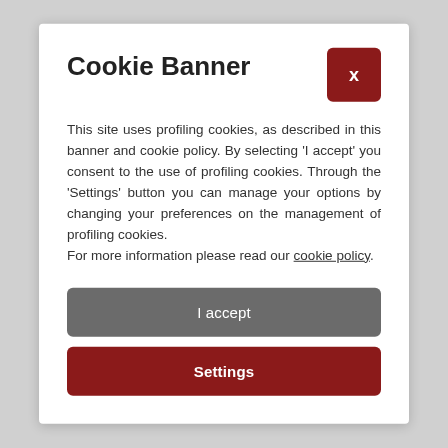Cookie Banner
This site uses profiling cookies, as described in this banner and cookie policy. By selecting 'I accept' you consent to the use of profiling cookies. Through the 'Settings' button you can manage your options by changing your preferences on the management of profiling cookies.
For more information please read our cookie policy.
I accept
Settings